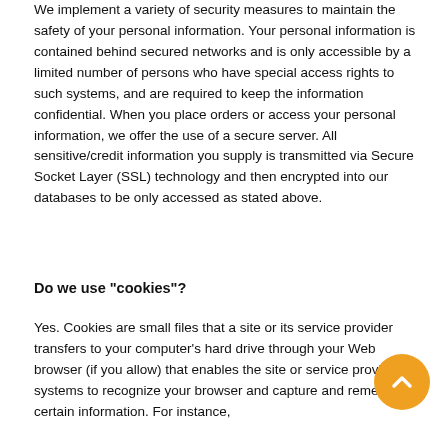We implement a variety of security measures to maintain the safety of your personal information. Your personal information is contained behind secured networks and is only accessible by a limited number of persons who have special access rights to such systems, and are required to keep the information confidential. When you place orders or access your personal information, we offer the use of a secure server. All sensitive/credit information you supply is transmitted via Secure Socket Layer (SSL) technology and then encrypted into our databases to be only accessed as stated above.
Do we use "cookies"?
Yes. Cookies are small files that a site or its service provider transfers to your computer's hard drive through your Web browser (if you allow) that enables the site or service provider's systems to recognize your browser and capture and remember certain information. For instance,